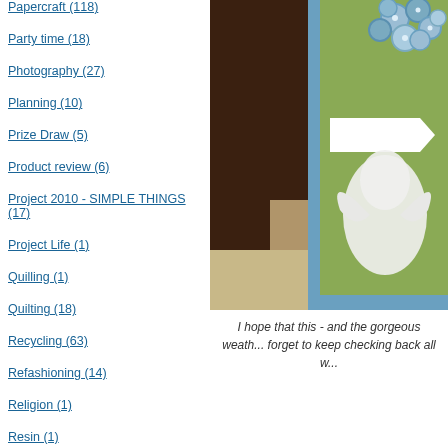Papercraft (118)
Party time (18)
Photography (27)
Planning (10)
Prize Draw (5)
Product review (6)
Project 2010 - SIMPLE THINGS (17)
Project Life (1)
Quilling (1)
Quilting (18)
Recycling (63)
Refashioning (14)
Religion (1)
Resin (1)
Ribbon (20)
Saturday Sewing (1)
Saturday Share (2)
Saturday Suppers (2)
[Figure (photo): Close-up photo of a handmade greeting card with green background, blue border, blue paper flowers arranged at top, a white banner/pennant shape, and a white dove or bird shape below it, lying on a wooden surface]
I hope that this - and the gorgeous weath... forget to keep checking back all w...